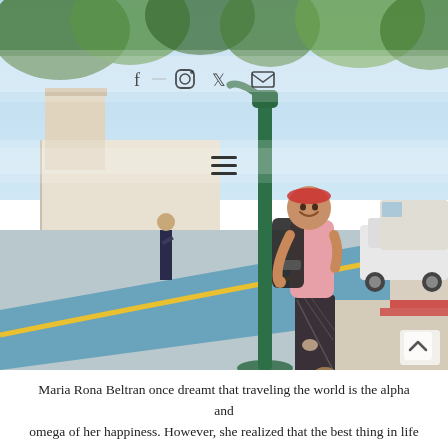[Figure (photo): A woman with a backpack and patterned wide-leg pants stands next to a green lamp post on a city sidewalk. A blue bicycle lane with a yellow stripe runs along the road. Trees, a white wall, a security guard, and passing vehicles are visible in the background. Social media icons (Facebook, Instagram, Twitter, email) and a hamburger menu icon are overlaid on the image.]
Maria Rona Beltran once dreamt that traveling the world is the alpha and omega of her happiness. However, she realized that the best thing in life is